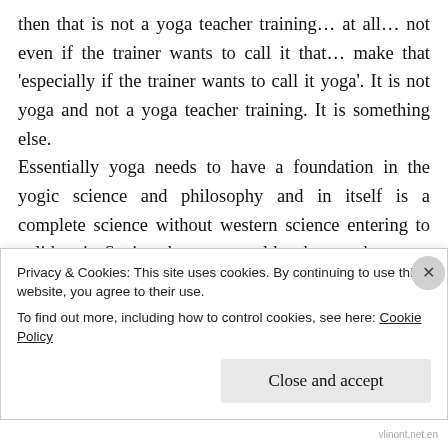then that is not a yoga teacher training… at all… not even if the trainer wants to call it that… make that 'especially if the trainer wants to call it yoga'. It is not yoga and not a yoga teacher training. It is something else. Essentially yoga needs to have a foundation in the yogic science and philosophy and in itself is a complete science without western science entering to validate it. Saying that you would rather teach a yoga of biomechanics and not give due importance to nadis, chakras, culture, nuance or any other more subtle philosophical sentiments and topics is being
Privacy & Cookies: This site uses cookies. By continuing to use this website, you agree to their use. To find out more, including how to control cookies, see here: Cookie Policy
Close and accept
vlinont.net.en